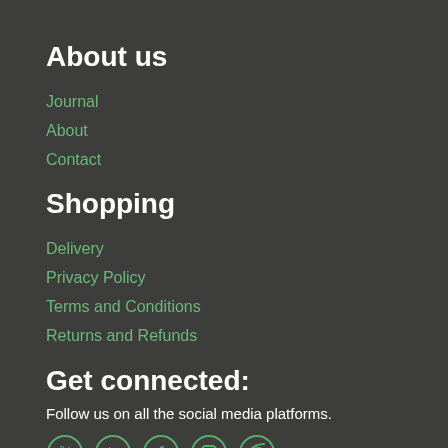About us
Journal
About
Contact
Shopping
Delivery
Privacy Policy
Terms and Conditions
Returns and Refunds
Get connected:
Follow us on all the social media platforms.
[Figure (infographic): Row of five social media icon circles in green outline: Twitter (bird), YouTube (play button), Facebook (f), Instagram (camera), RSS (wifi/feed symbol)]